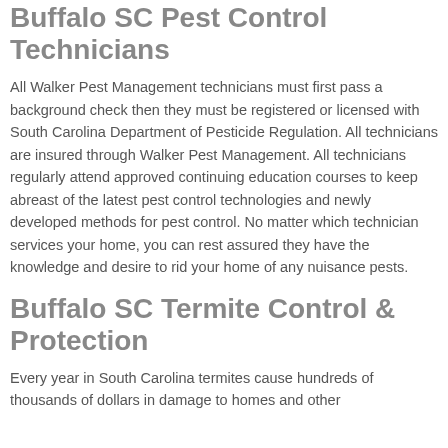Buffalo SC Pest Control Technicians
All Walker Pest Management technicians must first pass a background check then they must be registered or licensed with South Carolina Department of Pesticide Regulation. All technicians are insured through Walker Pest Management. All technicians regularly attend approved continuing education courses to keep abreast of the latest pest control technologies and newly developed methods for pest control. No matter which technician services your home, you can rest assured they have the knowledge and desire to rid your home of any nuisance pests.
Buffalo SC Termite Control & Protection
Every year in South Carolina termites cause hundreds of thousands of dollars in damage to homes and other